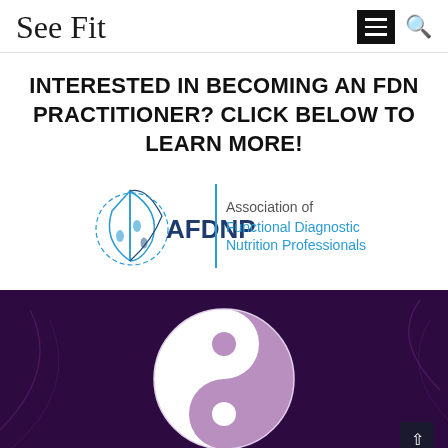See Fit
INTERESTED IN BECOMING AN FDN PRACTITIONER? CLICK BELOW TO LEARN MORE!
[Figure (logo): AFDNP logo: Association of Functional Diagnostic Nutrition Professionals, with a stylized water drop / leaf icon in teal and dark blue, a vertical blue dividing line, and text in gray and teal.]
[Figure (illustration): Dark purple background with a yin-yang style symbol: a large white crescent shape and a mauve/purple teardrop shape forming a yin-yang symbol, centered on the section. Faint curving decorative lines in the background. A dark scroll-to-top button in the bottom-right corner.]